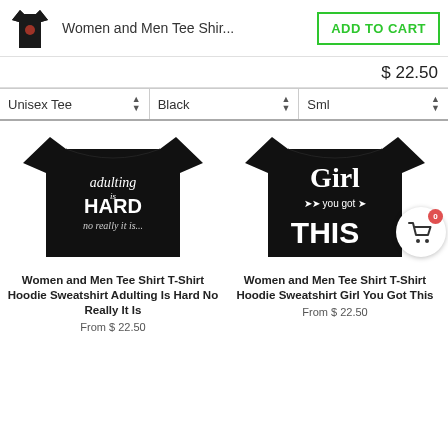Women and Men Tee Shir...
ADD TO CART
$ 22.50
Unisex Tee
Black
Sml
[Figure (photo): Black t-shirt with text 'adulting is HARD no really it is...']
[Figure (photo): Black t-shirt with text 'Girl you got THIS']
Women and Men Tee Shirt T-Shirt Hoodie Sweatshirt Adulting Is Hard No Really It Is
From $ 22.50
Women and Men Tee Shirt T-Shirt Hoodie Sweatshirt Girl You Got This
From $ 22.50